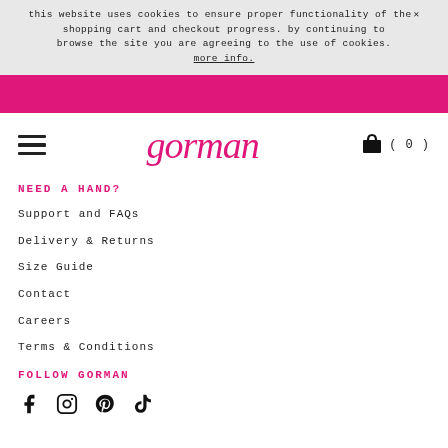this website uses cookies to ensure proper functionality of the shopping cart and checkout progress. by continuing to browse the site you are agreeing to the use of cookies. more info.
[Figure (other): Pink horizontal banner bar]
[Figure (other): Hamburger menu icon (three horizontal lines)]
gorman
[Figure (other): Shopping bag icon with cart count (0)]
NEED A HAND?
Support and FAQs
Delivery & Returns
Size Guide
Contact
Careers
Terms & Conditions
FOLLOW GORMAN
[Figure (other): Social media icons: Facebook, Instagram, Pinterest, TikTok]